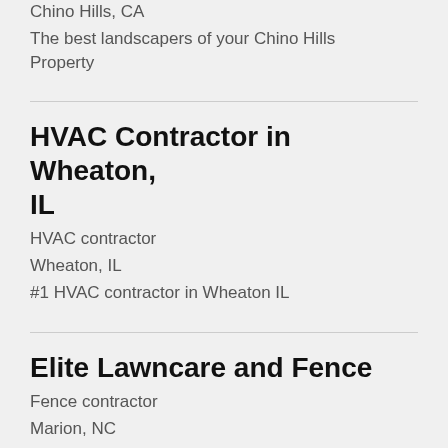Chino Hills, CA
The best landscapers of your Chino Hills Property
HVAC Contractor in Wheaton, IL
HVAC contractor
Wheaton, IL
#1 HVAC contractor in Wheaton IL
Elite Lawncare and Fence
Fence contractor
Marion, NC
Fence Company Marion